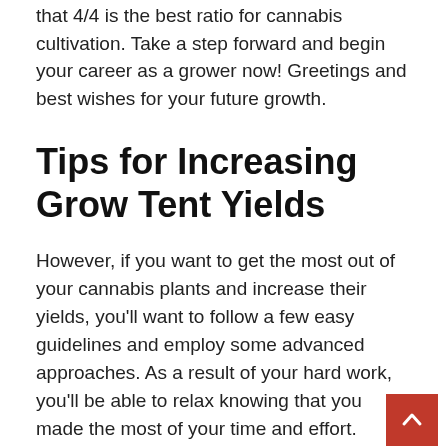that 4/4 is the best ratio for cannabis cultivation. Take a step forward and begin your career as a grower now! Greetings and best wishes for your future growth.
Tips for Increasing Grow Tent Yields
However, if you want to get the most out of your cannabis plants and increase their yields, you'll want to follow a few easy guidelines and employ some advanced approaches. As a result of your hard work, you'll be able to relax knowing that you made the most of your time and effort. Remember that optimizing the yield of a given place requires time and effort to master!